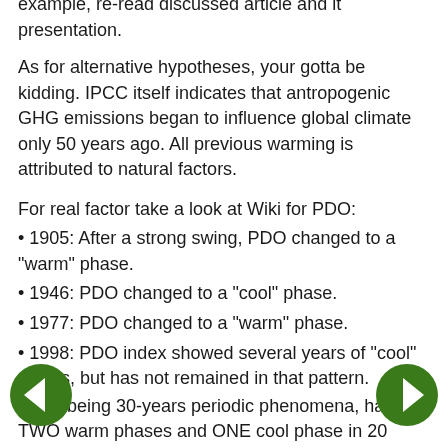example, re-read discussed article and it presentation.
As for alternative hypotheses, your gotta be kidding. IPCC itself indicates that antropogenic GHG emissions began to influence global climate only 50 years ago. All previous warming is attributed to natural factors.
For real factor take a look at Wiki for PDO:
1905: After a strong swing, PDO changed to a "warm" phase.
1946: PDO changed to a "cool" phase.
1977: PDO changed to a "warm" phase.
1998: PDO index showed several years of "cool" values, but has not remained in that pattern.
PDO, being 30-years periodic phenomena, had TWO warm phases and ONE cool phase in 20 century, which explains most of 0.6 C warming over 20 century. Remaining warming trend of 0.1-0.2 C could be attributed to noise, solar magnetic fluctuations, or to antropogenic factors (most probably mix of these three), but in any case this minuscule number does not justifies “end of the world” and “end of the” hysteria.